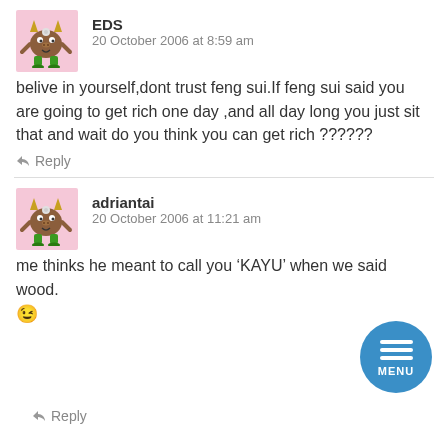[Figure (illustration): Cartoon monster avatar with horns and green legs on pink background]
EDS
20 October 2006 at 8:59 am
belive in yourself,dont trust feng sui.If feng sui said you are going to get rich one day ,and all day long you just sit that and wait do you think you can get rich ??????
Reply
[Figure (illustration): Cartoon monster avatar with horns and green legs on pink background]
adriantai
20 October 2006 at 11:21 am
me thinks he meant to call you ‘KAYU’ when we said wood.
Reply